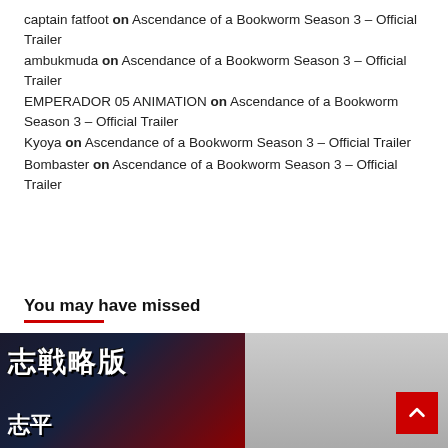captain fatfoot on Ascendance of a Bookworm Season 3 – Official Trailer
ambukmuda on Ascendance of a Bookworm Season 3 – Official Trailer
EMPERADOR 05 ANIMATION on Ascendance of a Bookworm Season 3 – Official Trailer
Kyoya on Ascendance of a Bookworm Season 3 – Official Trailer
Bombaster on Ascendance of a Bookworm Season 3 – Official Trailer
You may have missed
[Figure (photo): Image with Chinese/Japanese kanji characters text overlay on dark background]
[Figure (photo): Gray placeholder image with a red back-to-top button]